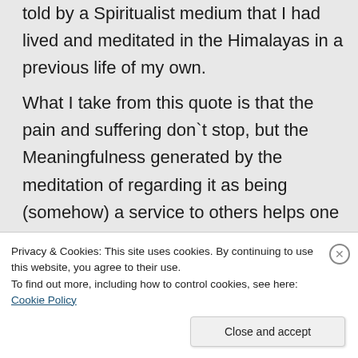told by a Spiritualist medium that I had lived and meditated in the Himalayas in a previous life of my own.
What I take from this quote is that the pain and suffering don`t stop, but the Meaningfulness generated by the meditation of regarding it as being (somehow) a service to others helps one to deal with it.
“You do this meditation of taking
Privacy & Cookies: This site uses cookies. By continuing to use this website, you agree to their use.
To find out more, including how to control cookies, see here: Cookie Policy
Close and accept